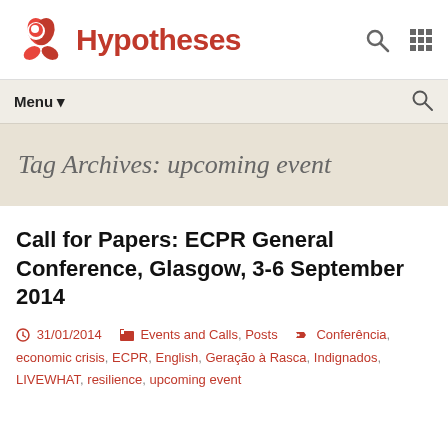Hypotheses
Tag Archives: upcoming event
Call for Papers: ECPR General Conference, Glasgow, 3-6 September 2014
31/01/2014  Events and Calls, Posts  Conferência, economic crisis, ECPR, English, Geração à Rasca, Indignados, LIVEWHAT, resilience, upcoming event